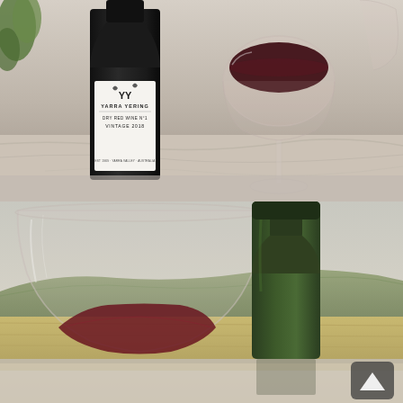[Figure (photo): Photo of a Yarra Yering Dry Red Wine No.1 Vintage 2018 bottle next to a wine glass filled with deep red wine, on a marble surface indoors.]
[Figure (photo): Photo of a wide-bowl stemless wine glass with red wine beside a dark green wine bottle, set against a rural vineyard landscape background with hills in the distance. A scroll-to-top arrow icon is visible in the bottom right corner.]